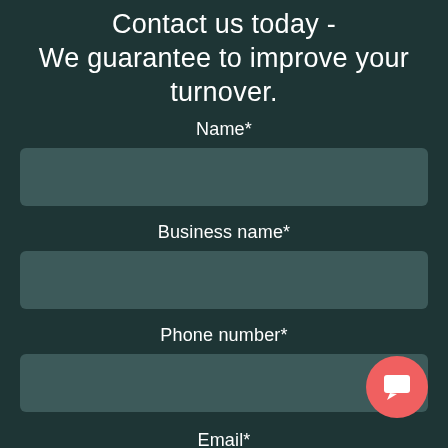Contact us today - We guarantee to improve your turnover.
Name*
[Figure (other): Empty text input field for Name]
Business name*
[Figure (other): Empty text input field for Business name]
Phone number*
[Figure (other): Empty text input field for Phone number]
[Figure (other): Red circular chat button with speech bubble icon in bottom right corner]
Email*